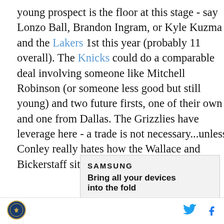young prospect is the floor at this stage - say Lonzo Ball, Brandon Ingram, or Kyle Kuzma and the Lakers 1st this year (probably 11 overall). The Knicks could do a comparable deal involving someone like Mitchell Robinson (or someone less good but still young) and two future firsts, one of their own and one from Dallas. The Grizzlies have leverage here - a trade is not necessary...unless Conley really hates how the Wallace and Bickerstaff situation played out.
[Figure (other): Samsung advertisement - 'Bring all your devices into the fold' with LEARN MORE button]
Logo icon, Twitter icon, Facebook icon